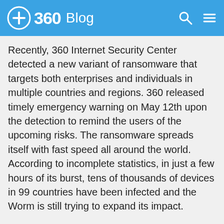360 Blog
Recently, 360 Internet Security Center detected a new variant of ransomware that targets both enterprises and individuals in multiple countries and regions. 360 released timely emergency warning on May 12th upon the detection to remind the users of the upcoming risks. The ransomware spreads itself with fast speed all around the world. According to incomplete statistics, in just a few hours of its burst, tens of thousands of devices in 99 countries have been infected and the Worm is still trying to expand its impact.
Generally, ransomeware is a kind of malicious program with clear extortion intention. It encrypts the victim's files by using asymmetric cryptographic algorithm, making them inaccessible, and demands a ransom payment to decrypt them. Unless the ransom is paid, the files cannot be restored. This new variant is code-